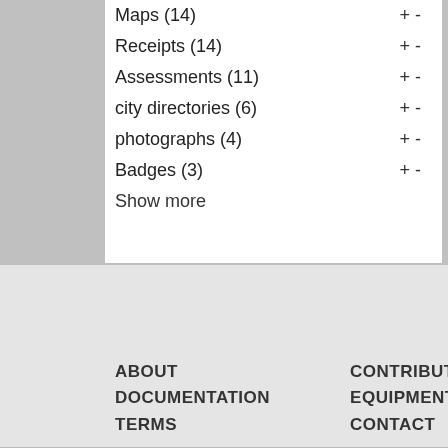Maps (14) + -
Receipts (14) + -
Assessments (11) + -
city directories (6) + -
photographs (4) + -
Badges (3) + -
Show more
ABOUT
DOCUMENTATION
TERMS
CONTRIBUTORS
EQUIPMENT
CONTACT